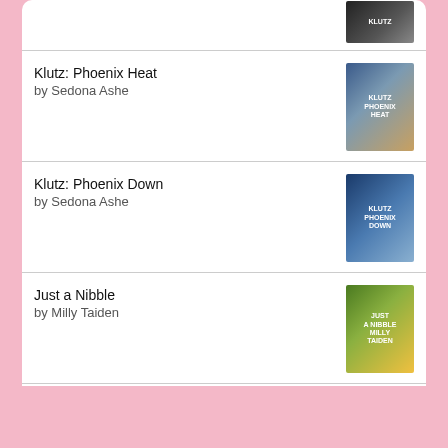[Figure (illustration): Book cover thumbnail at top (partial)]
Klutz: Phoenix Heat by Sedona Ashe
Klutz: Phoenix Down by Sedona Ashe
Just a Nibble by Milly Taiden
Brutal Mate by Lee Savino
[Figure (logo): Goodreads logo button with rounded rectangle border]